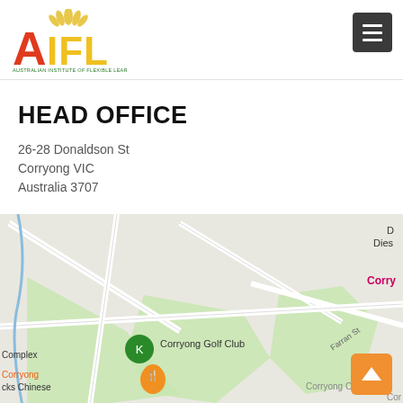[Figure (logo): AIFL logo — Australian Institute of Flexible Learning, with orange/red A, yellow IFL letters and lotus flower on top]
HEAD OFFICE
26-28 Donaldson St
Corryong VIC
Australia 3707
[Figure (map): Google Maps screenshot showing Corryong area with Corryong Golf Club marker, Corryong Ducks Chinese restaurant marker, road intersections including Farran St, green areas, and partial labels for Diesel and Corryong visible at right edge]